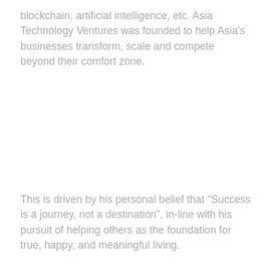blockchain, artificial intelligence, etc. Asia Technology Ventures was founded to help Asia's businesses transform, scale and compete beyond their comfort zone.
This is driven by his personal belief that "Success is a journey, not a destination", in-line with his pursuit of helping others as the foundation for true, happy, and meaningful living.